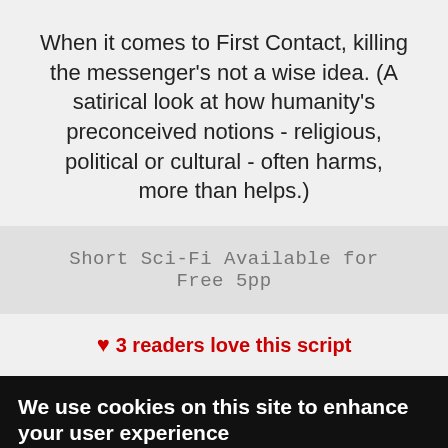When it comes to First Contact, killing the messenger's not a wise idea. (A satirical look at how humanity's preconceived notions - religious, political or cultural - often harms, more than helps.)
Short Sci-Fi Available for Free 5pp
♥ 3 readers love this script
We use cookies on this site to enhance your user experience
By clicking the Accept button, you agree to us doing so.
No, give me more info
OK, I agree
No, thanks